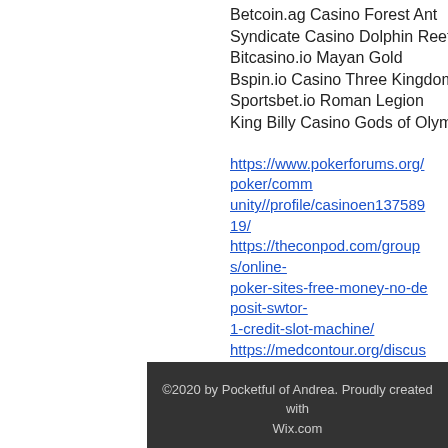Betcoin.ag Casino Forest Ant
Syndicate Casino Dolphin Reef
Bitcasino.io Mayan Gold
Bspin.io Casino Three Kingdoms
Sportsbet.io Roman Legion
King Billy Casino Gods of Olympus
https://www.pokerforums.org/poker/community//profile/casinoen13758919/ https://theconpod.com/groups/online-poker-sites-free-money-no-deposit-swtor-1-credit-slot-machine/ https://medcontour.org/discuss/profile/casinoen1540690/ https://convertyourspace.com/groups/china-river-free-slots-50s-pin-up-girls-pictures/
©2020 by Pocketful of Andrea. Proudly created with Wix.com